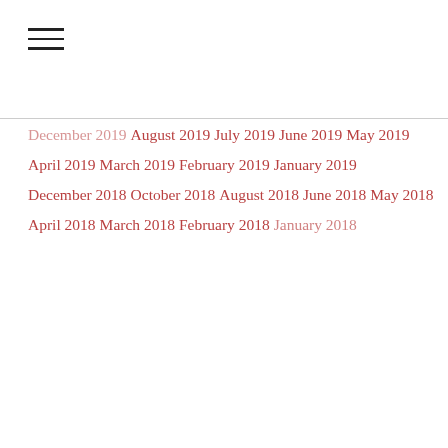December 2019
August 2019
July 2019
June 2019
May 2019
April 2019
March 2019
February 2019
January 2019
December 2018
October 2018
August 2018
June 2018
May 2018
April 2018
March 2018
February 2018
January 2018